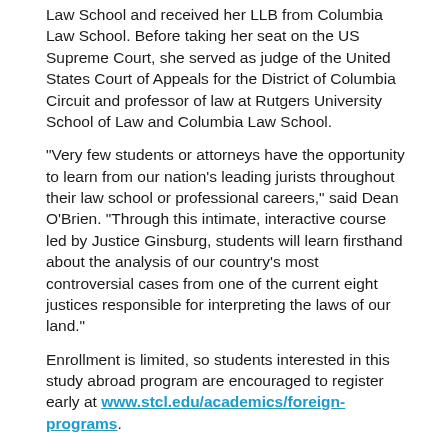Law School and received her LLB from Columbia Law School. Before taking her seat on the US Supreme Court, she served as judge of the United States Court of Appeals for the District of Columbia Circuit and professor of law at Rutgers University School of Law and Columbia Law School.
“Very few students or attorneys have the opportunity to learn from our nation’s leading jurists throughout their law school or professional careers,” said Dean O’Brien. “Through this intimate, interactive course led by Justice Ginsburg, students will learn firsthand about the analysis of our country’s most controversial cases from one of the current eight justices responsible for interpreting the laws of our land.”
Enrollment is limited, so students interested in this study abroad program are encouraged to register early at www.stcl.edu/academics/foreign-programs.
[Figure (other): Three social media icons: Facebook (blue), Twitter (cyan), LinkedIn (blue)]